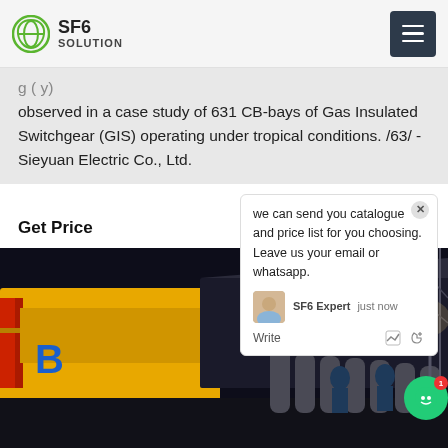SF6 SOLUTION
observed in a case study of 631 CB-bays of Gas Insulated Switchgear (GIS) operating under tropical conditions. /63/ -Sieyuan Electric Co., Ltd.
Get Price
[Figure (photo): Night-time industrial field photo showing yellow SF6 gas service trucks and workers with gas cylinders at an outdoor electrical substation]
we can send you catalogue and price list for you choosing. Leave us your email or whatsapp. SF6 Expert just now Write